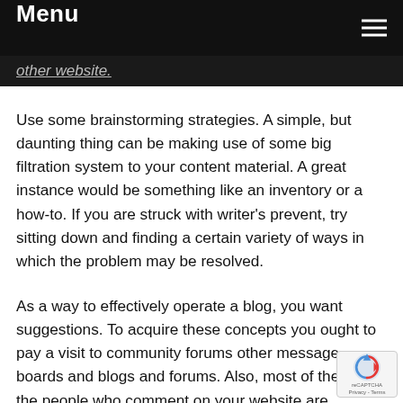Menu
other website
Use some brainstorming strategies. A simple, but daunting thing can be making use of some big filtration system to your content material. A great instance would be something like an inventory or a how-to. If you are struck with writer's prevent, try sitting down and finding a certain variety of ways in which the problem may be resolved.
As a way to effectively operate a blog, you want suggestions. To acquire these concepts you ought to pay a visit to community forums other message boards and blogs and forums. Also, most of the time the people who comment on your website are